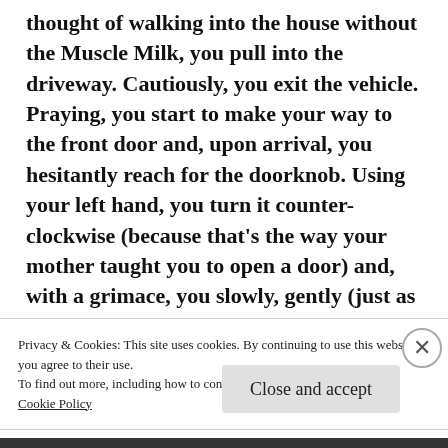thought of walking into the house without the Muscle Milk, you pull into the driveway. Cautiously, you exit the vehicle. Praying, you start to make your way to the front door and, upon arrival, you hesitantly reach for the doorknob. Using your left hand, you turn it counter-clockwise (because that’s the way your mother taught you to open a door) and, with a grimace, you slowly, gently (just as you pronounce the word, “Amen.”) push… open…
Privacy & Cookies: This site uses cookies. By continuing to use this website, you agree to their use.
To find out more, including how to control cookies, see here:
Cookie Policy
Close and accept